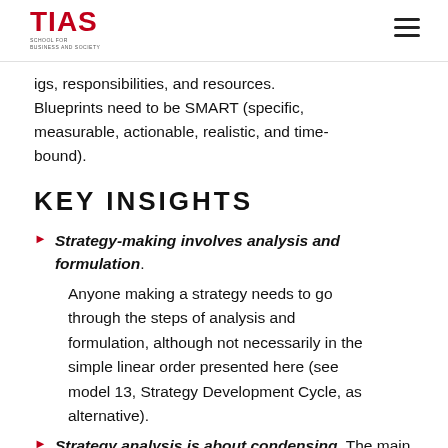TIAS SCHOOL FOR BUSINESS AND SOCIETY
igs, responsibilities, and resources. Blueprints need to be SMART (specific, measurable, actionable, realistic, and time-bound).
KEY INSIGHTS
Strategy-making involves analysis and formulation. Anyone making a strategy needs to go through the steps of analysis and formulation, although not necessarily in the simple linear order presented here (see model 13, Strategy Development Cycle, as alternative).
Strategy analysis is about condensing. The main challenge of strategy analysis is to provide insight...